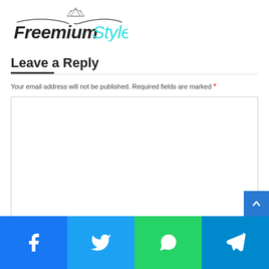Freemium Style
Leave a Reply
Your email address will not be published. Required fields are marked *
[Figure (screenshot): Empty comment text area input box]
[Figure (infographic): Social share bar with Facebook, Twitter, WhatsApp, and Telegram buttons]